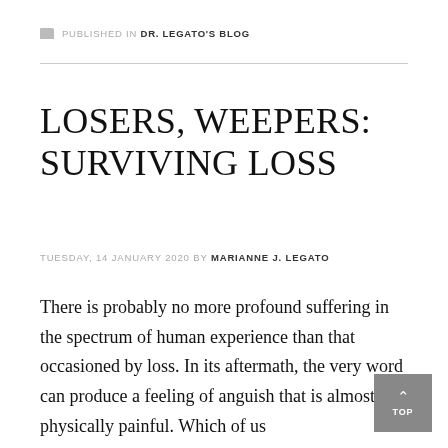PUBLISHED IN DR. LEGATO'S BLOG
LOSERS, WEEPERS: SURVIVING LOSS
TUESDAY, 14 JANUARY 2020 BY MARIANNE J. LEGATO
There is probably no more profound suffering in the spectrum of human experience than that occasioned by loss. In its aftermath, the very word can produce a feeling of anguish that is almost physically painful. Which of us